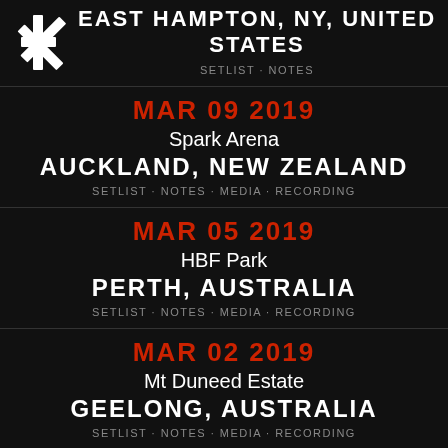EAST HAMPTON, NY, UNITED STATES
SETLIST · NOTES
MAR 09 2019
Spark Arena
AUCKLAND, NEW ZEALAND
SETLIST · NOTES · MEDIA · RECORDING
MAR 05 2019
HBF Park
PERTH, AUSTRALIA
SETLIST · NOTES · MEDIA · RECORDING
MAR 02 2019
Mt Duneed Estate
GEELONG, AUSTRALIA
SETLIST · NOTES · MEDIA · RECORDING